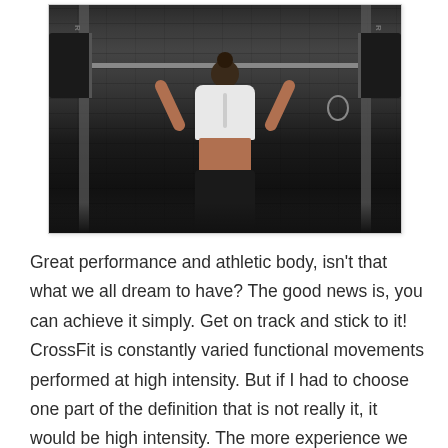[Figure (photo): A female athlete viewed from behind, lifting a barbell overhead in a gym setting. She is wearing a white sports bra and black leggings, with her hair in a bun. The background shows a dark brick wall and squat rack equipment. A gymnastic ring hangs on the right side.]
Great performance and athletic body, isn't that what we all dream to have? The good news is, you can achieve it simply. Get on track and stick to it!  CrossFit is constantly varied functional movements performed at high intensity. But if I had to choose one part of the definition that is not really it, it would be high intensity. The more experience we get the more we know about how to pace, i.e. saving energy, breaking up the movements, planning your rest